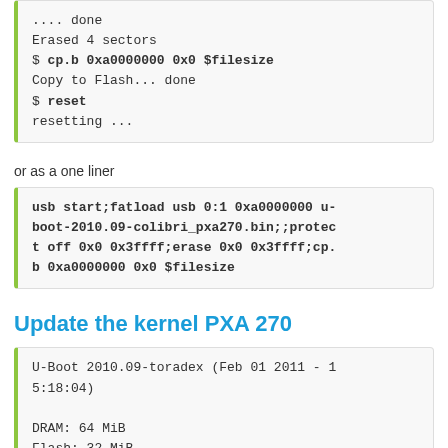.... done
Erased 4 sectors
$ cp.b 0xa0000000 0x0 $filesize
Copy to Flash... done
$ reset
resetting ...
or as a one liner
usb start;fatload usb 0:1 0xa0000000 u-boot-2010.09-colibri_pxa270.bin;;protect off 0x0 0x3ffff;erase 0x0 0x3ffff;cp.b 0xa0000000 0x0 $filesize
Update the kernel PXA 270
U-Boot 2010.09-toradex (Feb 01 2011 - 15:18:04)

DRAM:  64 MiB
Flash: 32 MiB